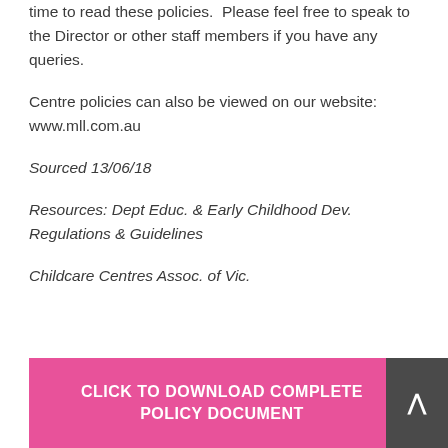time to read these policies.  Please feel free to speak to the Director or other staff members if you have any queries.
Centre policies can also be viewed on our website: www.mll.com.au
Sourced 13/06/18
Resources: Dept Educ. & Early Childhood Dev. Regulations & Guidelines
Childcare Centres Assoc. of Vic.
CLICK TO DOWNLOAD COMPLETE POLICY DOCUMENT